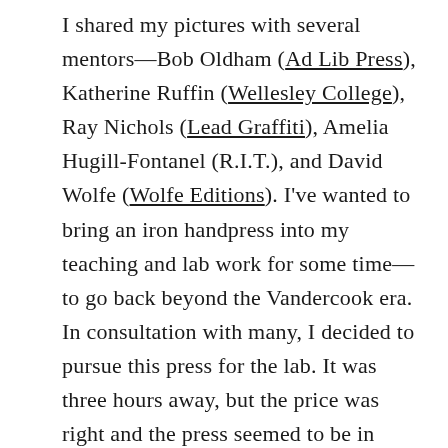I shared my pictures with several mentors—Bob Oldham (Ad Lib Press), Katherine Ruffin (Wellesley College), Ray Nichols (Lead Graffiti), Amelia Hugill-Fontanel (R.I.T.), and David Wolfe (Wolfe Editions). I've wanted to bring an iron handpress into my teaching and lab work for some time—to go back beyond the Vandercook era. In consultation with many, I decided to pursue this press for the lab. It was three hours away, but the price was right and the press seemed to be in pretty good condition. I wrote and received an internal grant, and also received support